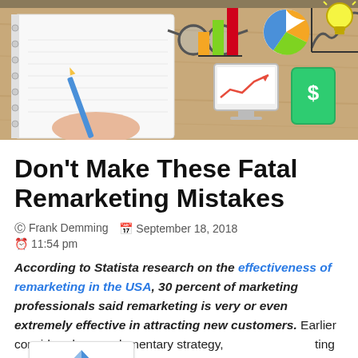[Figure (illustration): Hero banner image showing a desk with a notebook, glasses, pencil, and drawn icons of bar charts, pie chart, line graph, computer monitor with upward trend, dollar sign card, and light bulb on a wooden table surface.]
Don't Make These Fatal Remarketing Mistakes
© Frank Demming   📅 September 18, 2018
🕐 11:54 pm
According to Statista research on the effectiveness of remarketing in the USA, 30 percent of marketing professionals said remarketing is very or even extremely effective in attracting new customers. Earlier considered a complementary strategy, remarketing has become a powerful internet marketing tactic. It is a known fact that customer retention generates